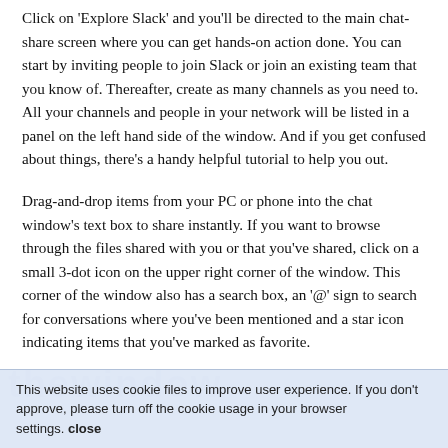Click on 'Explore Slack' and you'll be directed to the main chat-share screen where you can get hands-on action done. You can start by inviting people to join Slack or join an existing team that you know of. Thereafter, create as many channels as you need to. All your channels and people in your network will be listed in a panel on the left hand side of the window. And if you get confused about things, there's a handy helpful tutorial to help you out.
Drag-and-drop items from your PC or phone into the chat window's text box to share instantly. If you want to browse through the files shared with you or that you've shared, click on a small 3-dot icon on the upper right corner of the window. This corner of the window also has a search box, an '@' sign to search for conversations where you've been mentioned and a star icon indicating items that you've marked as favorite.
This website uses cookie files to improve user experience. If you don't approve, please turn off the cookie usage in your browser settings. close